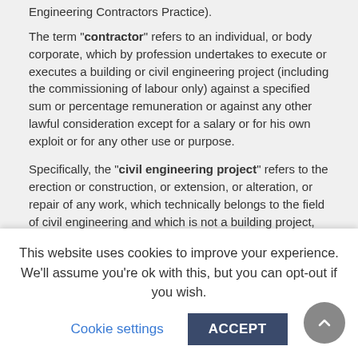Engineering Contractors Practice).
The term "contractor" refers to an individual, or body corporate, which by profession undertakes to execute or executes a building or civil engineering project (including the commissioning of labour only) against a specified sum or percentage remuneration or against any other lawful consideration except for a salary or for his own exploit or for any other use or purpose.
Specifically, the "civil engineering project" refers to the erection or construction, or extension, or alteration, or repair of any work, which technically belongs to the field of civil engineering and which is not a building project, and includes roadworks, the construction of bridges, tunnels, dams, drains, harbour works, airports, sewers, drainage, water and irrigation works, beach protection works, quarrying and mining works but does not include fencing and retaining wall
This website uses cookies to improve your experience. We'll assume you're ok with this, but you can opt-out if you wish.